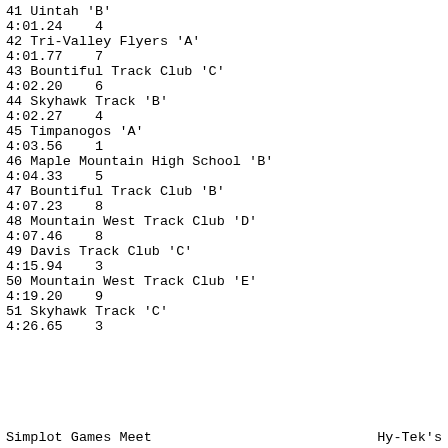41 Uintah  'B'
4:01.24   4
42 Tri-Valley Flyers  'A'
4:01.77   7
43 Bountiful Track Club  'C'
4:02.20   6
44 Skyhawk Track  'B'
4:02.27   4
45 Timpanogos  'A'
4:03.56   1
46 Maple Mountain High School  'B'
4:04.33   5
47 Bountiful Track Club  'B'
4:07.23   8
48 Mountain West Track Club  'D'
4:07.46   8
49 Davis Track Club  'C'
4:15.94   3
50 Mountain West Track Club  'E'
4:19.20   9
51 Skyhawk Track  'C'
4:26.65   3
Simplot Games Meet                                                    Hy-Tek's